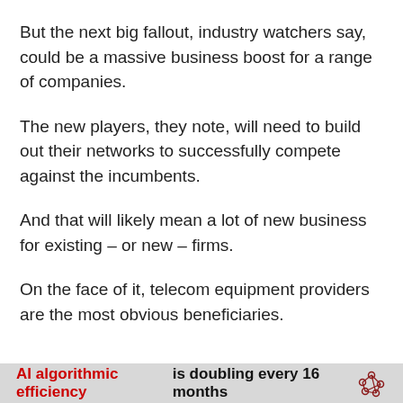But the next big fallout, industry watchers say, could be a massive business boost for a range of companies.
The new players, they note, will need to build out their networks to successfully compete against the incumbents.
And that will likely mean a lot of new business for existing – or new – firms.
On the face of it, telecom equipment providers are the most obvious beneficiaries.
AI algorithmic efficiency is doubling every 16 months